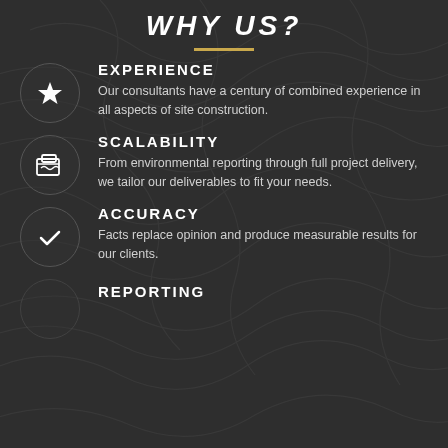WHY US?
EXPERIENCE
Our consultants have a century of combined experience in all aspects of site construction.
SCALABILITY
From environmental reporting through full project delivery, we tailor our deliverables to fit your needs.
ACCURACY
Facts replace opinion and produce measurable results for our clients.
REPORTING